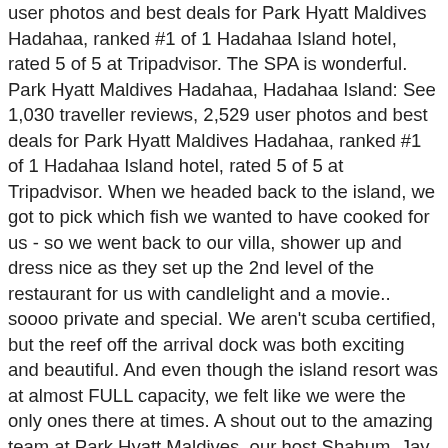user photos and best deals for Park Hyatt Maldives Hadahaa, ranked #1 of 1 Hadahaa Island hotel, rated 5 of 5 at Tripadvisor. The SPA is wonderful. Park Hyatt Maldives Hadahaa, Hadahaa Island: See 1,030 traveller reviews, 2,529 user photos and best deals for Park Hyatt Maldives Hadahaa, ranked #1 of 1 Hadahaa Island hotel, rated 5 of 5 at Tripadvisor. When we headed back to the island, we got to pick which fish we wanted to have cooked for us - so we went back to our villa, shower up and dress nice as they set up the 2nd level of the restaurant for us with candlelight and a movie.. soooo private and special. We aren't scuba certified, but the reef off the arrival dock was both exciting and beautiful. And even though the island resort was at almost FULL capacity, we felt like we were the only ones there at times. A shout out to the amazing team at Park Hyatt Maldives, our host Shahum, Jay, Pravesh, and mostly Jisun who was amazing with us. We look forward to welcoming you back and explore even more that this amazing region has to offer. , Review collected in partnership with Hyatt Hotels fade as climate change continues